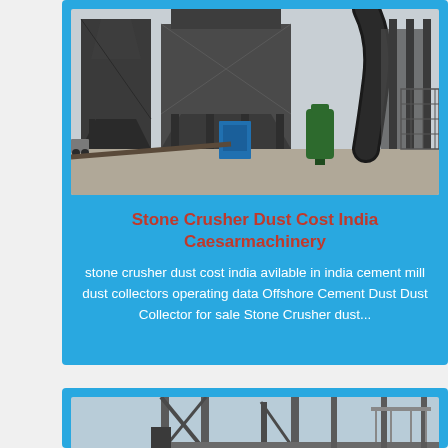[Figure (photo): Industrial stone crusher dust collector facility with large hopper/silo structures, metal frameworks, a blue electrical cabinet, green pressure vessel, and large ventilation ductwork against an overcast sky.]
Stone Crusher Dust Cost India Caesarmachinery
stone crusher dust cost india avilable in india cement mill dust collectors operating data Offshore Cement Dust Dust Collector for sale Stone Crusher dust...
[Figure (photo): Partial view of another industrial crusher or conveyor structure with metal framework visible at bottom of page.]